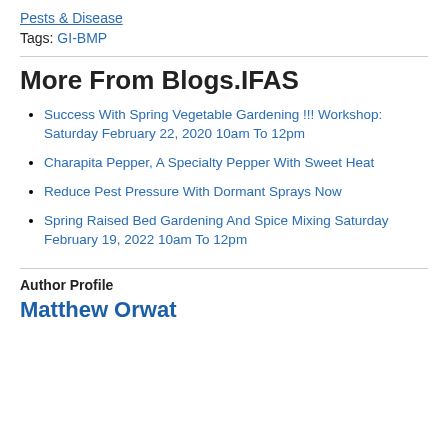Pests & Disease
Tags: GI-BMP
More From Blogs.IFAS
Success With Spring Vegetable Gardening !!! Workshop: Saturday February 22, 2020 10am To 12pm
Charapita Pepper, A Specialty Pepper With Sweet Heat
Reduce Pest Pressure With Dormant Sprays Now
Spring Raised Bed Gardening And Spice Mixing Saturday February 19, 2022 10am To 12pm
Author Profile
Matthew Orwat